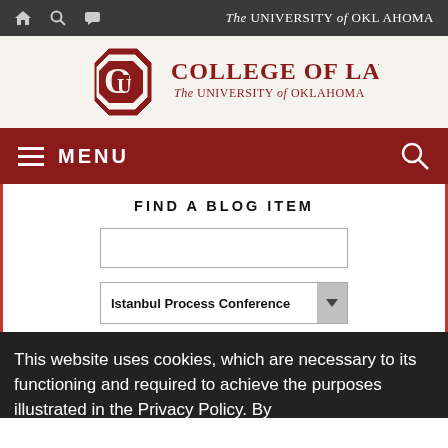The UNIVERSITY of OKLAHOMA
[Figure (logo): OU College of Law - The University of Oklahoma logo with interlocking OU letters in crimson]
MENU
FIND A BLOG ITEM
Istanbul Process Conference (dropdown selection)
This website uses cookies, which are necessary to its functioning and required to achieve the purposes illustrated in the Privacy Policy. By